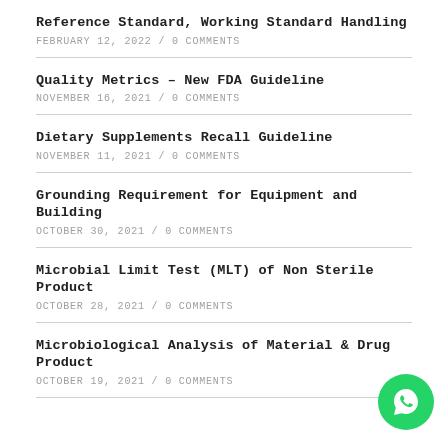Reference Standard, Working Standard Handling
FEBRUARY 12, 2022 / 0 COMMENTS
Quality Metrics – New FDA Guideline
NOVEMBER 16, 2021 / 0 COMMENTS
Dietary Supplements Recall Guideline
NOVEMBER 11, 2021 / 0 COMMENTS
Grounding Requirement for Equipment and Building
OCTOBER 30, 2021 / 0 COMMENTS
Microbial Limit Test (MLT) of Non Sterile Product
OCTOBER 28, 2021 / 0 COMMENTS
Microbiological Analysis of Material & Drug Product
OCTOBER 19, 2021 / 0 COMMENTS